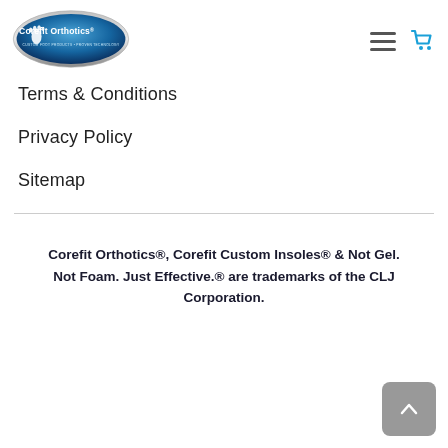[Figure (logo): Corefit Orthotics logo — blue oval with white foot icon and brand name]
Terms & Conditions
Privacy Policy
Sitemap
Corefit Orthotics®, Corefit Custom Insoles® & Not Gel. Not Foam. Just Effective.® are trademarks of the CLJ Corporation.